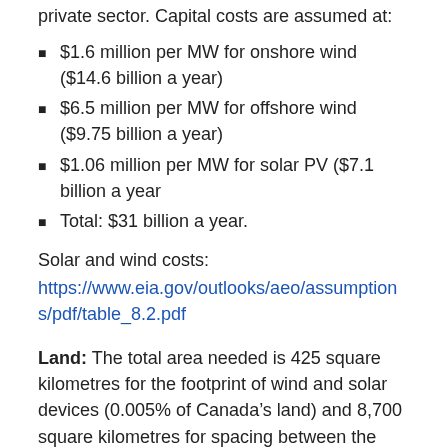private sector. Capital costs are assumed at:
$1.6 million per MW for onshore wind ($14.6 billion a year)
$6.5 million per MW for offshore wind ($9.75 billion a year)
$1.06 million per MW for solar PV ($7.1 billion a year
Total: $31 billion a year.
Solar and wind costs:
https://www.eia.gov/outlooks/aeo/assumptions/pdf/table_8.2.pdf
Land: The total area needed is 425 square kilometres for the footprint of wind and solar devices (0.005% of Canada’s land) and 8,700 square kilometres for spacing between the turbines (0.096% of Canada’s land), which can also be used for farming and utility solar PV. The